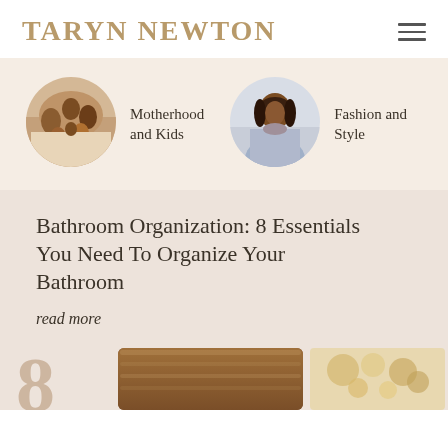TARYN NEWTON
[Figure (photo): Round cropped photo of a Black family group smiling together, warm tones]
Motherhood and Kids
[Figure (photo): Round cropped photo of a Black woman smiling, wearing a blue dress, light background]
Fashion and Style
Bathroom Organization: 8 Essentials You Need To Organize Your Bathroom
read more
[Figure (photo): Partial bottom image showing a bathroom counter/shelf with decorative items, large number 8 watermark visible]